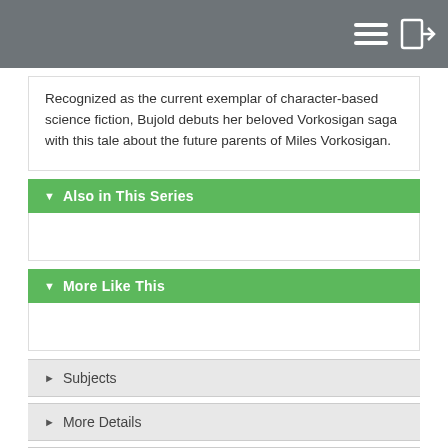Recognized as the current exemplar of character-based science fiction, Bujold debuts her beloved Vorkosigan saga with this tale about the future parents of Miles Vorkosigan.
Also in This Series
More Like This
Subjects
More Details
Librarian Reviews
Published Reviews